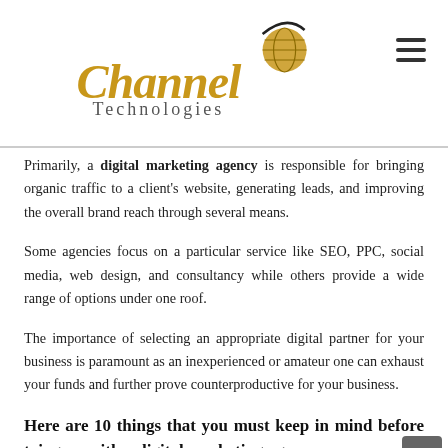[Figure (logo): Channel Technologies logo with globe icon and stylized text in gold/brown italic]
Primarily, a digital marketing agency is responsible for bringing organic traffic to a client's website, generating leads, and improving the overall brand reach through several means.
Some agencies focus on a particular service like SEO, PPC, social media, web design, and consultancy while others provide a wide range of options under one roof.
The importance of selecting an appropriate digital partner for your business is paramount as an inexperienced or amateur one can exhaust your funds and further prove counterproductive for your business.
Here are 10 things that you must keep in mind before tying up with a digital marketing agency: